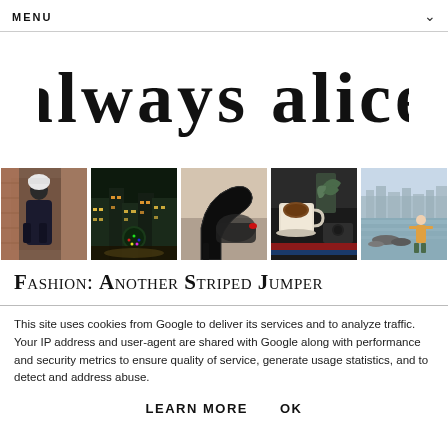MENU
[Figure (logo): Handwritten script logo reading 'always alice' in black brush lettering]
[Figure (photo): A horizontal strip of five lifestyle/fashion photos: person in dark coat outdoors, night scene of lit buildings, close-up of black high heel shoe, coffee cup and plant on dark surface, person standing on rocky waterfront]
Fashion: Another Striped Jumper
This site uses cookies from Google to deliver its services and to analyze traffic. Your IP address and user-agent are shared with Google along with performance and security metrics to ensure quality of service, generate usage statistics, and to detect and address abuse.
LEARN MORE   OK